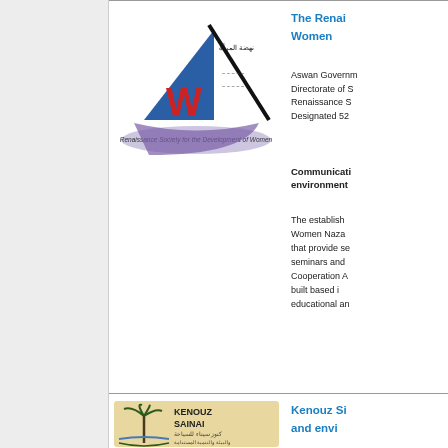[Figure (logo): Renaissance Society for the Development of Women logo — stylized blue triangle with red W and Arabic text]
The Renaissance Society for the Development of Women
Aswan Governorate / Directorate of Social Affairs / Renaissance S... / Designated 52...
Communication with the environment
The establishment... Women Nazar... that provide se... seminars and... Cooperation A... built based i... educational an...
[Figure (logo): Kenouz Sainai logo — palm tree on water with Arabic text and laurel wreath]
Kenouz Sinai for tourism and environment
Notarization N...
Communication with the environment